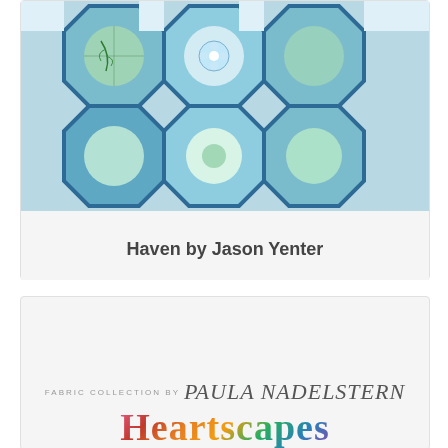[Figure (photo): Quilt with octagon pattern in blue, white and green botanical print fabrics arranged in a geometric layout]
Haven by Jason Yenter
[Figure (logo): Heartscapes fabric collection logo by Paula Nadelstern, with decorative floral lettering and script signature above]